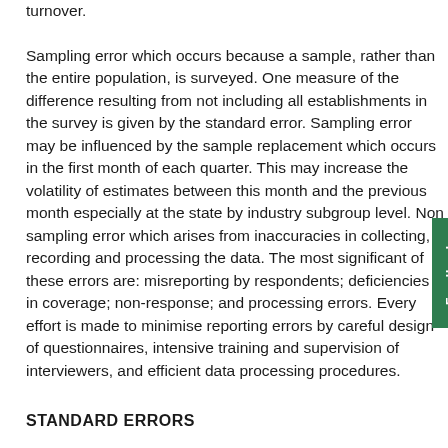turnover.

Sampling error which occurs because a sample, rather than the entire population, is surveyed. One measure of the difference resulting from not including all establishments in the survey is given by the standard error. Sampling error may be influenced by the sample replacement which occurs in the first month of each quarter. This may increase the volatility of estimates between this month and the previous month especially at the state by industry subgroup level. Non sampling error which arises from inaccuracies in collecting, recording and processing the data. The most significant of these errors are: misreporting by respondents; deficiencies in coverage; non-response; and processing errors. Every effort is made to minimise reporting errors by careful design of questionnaires, intensive training and supervision of interviewers, and efficient data processing procedures.
STANDARD ERRORS